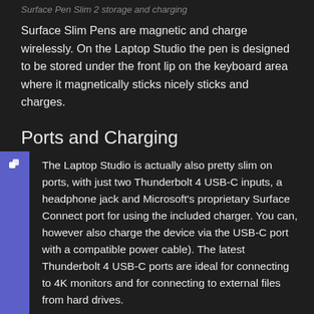Surface Pen Slim 2 storage and charging
Surface Slim Pens are magnetic and charge wirelessly. On the Laptop Studio the pen is designed to be stored under the front lip on the keyboard area where it magnetically sticks nicely sticks and charges.
Ports and Charging
The Laptop Studio is actually also pretty slim on ports, with just two Thunderbolt 4 USB-C inputs, a headphone jack and Microsoft's proprietary Surface Connect port for using the included charger. You can, however also charge the device via the USB-C port with a compatible power cable). The latest Thunderbolt 4 USB-C ports are ideal for connecting to 4K monitors and for connecting to external files from hard drives.